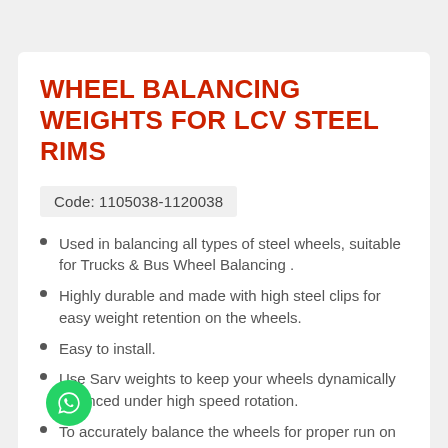WHEEL BALANCING WEIGHTS FOR LCV STEEL RIMS
Code: 1105038-1120038
Used in balancing all types of steel wheels, suitable for Trucks & Bus Wheel Balancing .
Highly durable and made with high steel clips for easy weight retention on the wheels.
Easy to install.
Use Sarv weights to keep your wheels dynamically balanced under high speed rotation.
To accurately balance the wheels for proper run on the roads.